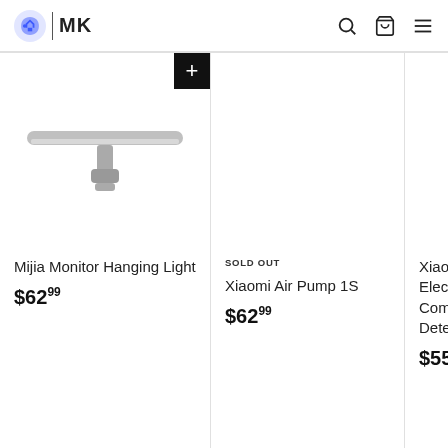MK
[Figure (illustration): Xiaomi Mijia Monitor Hanging Light product image - a horizontal bar lamp with a center mount bracket]
Mijia Monitor Hanging Light
$62.99
SOLD OUT
Xiaomi Air Pump 1S
$62.99
Xiaomi Electric Compressor Detector
$55.00